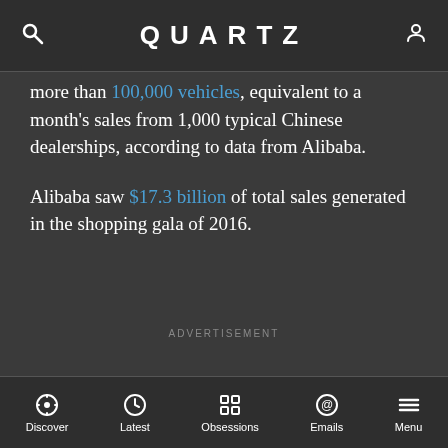QUARTZ
more than 100,000 vehicles, equivalent to a month's sales from 1,000 typical Chinese dealerships, according to data from Alibaba.
Alibaba saw $17.3 billion of total sales generated in the shopping gala of 2016.
ADVERTISEMENT
Discover | Latest | Obsessions | Emails | Menu